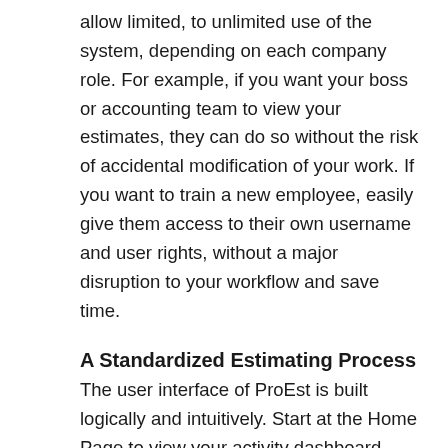allow limited, to unlimited use of the system, depending on each company role. For example, if you want your boss or accounting team to view your estimates, they can do so without the risk of accidental modification of your work. If you want to train a new employee, easily give them access to their own username and user rights, without a major disruption to your workflow and save time.
A Standardized Estimating Process
The user interface of ProEst is built logically and intuitively. Start at the Home Page to view your activity dashboard, including your tasks and notifications, learning tools, and high-